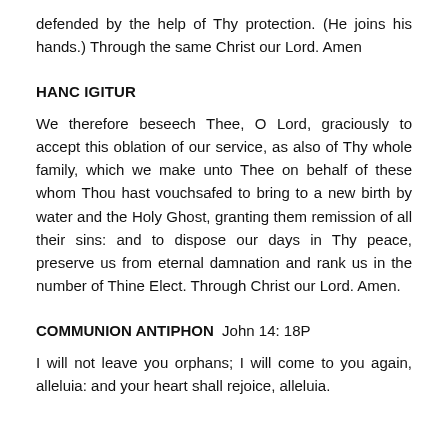defended by the help of Thy protection. (He joins his hands.) Through the same Christ our Lord. Amen
HANC IGITUR
We therefore beseech Thee, O Lord, graciously to accept this oblation of our service, as also of Thy whole family, which we make unto Thee on behalf of these whom Thou hast vouchsafed to bring to a new birth by water and the Holy Ghost, granting them remission of all their sins: and to dispose our days in Thy peace, preserve us from eternal damnation and rank us in the number of Thine Elect. Through Christ our Lord. Amen.
COMMUNION ANTIPHON  John 14: 18P
I will not leave you orphans; I will come to you again, alleluia: and your heart shall rejoice, alleluia.